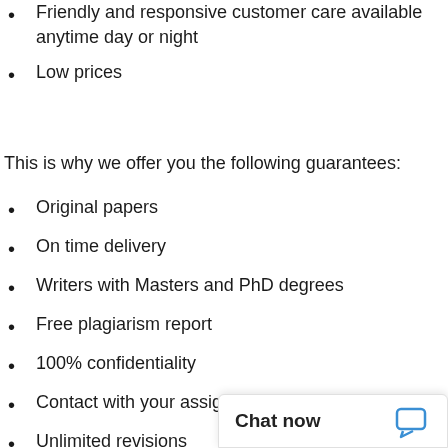Friendly and responsive customer care available anytime day or night
Low prices
This is why we offer you the following guarantees:
Original papers
On time delivery
Writers with Masters and PhD degrees
Free plagiarism report
100% confidentiality
Contact with your assig…
Unlimited revisions